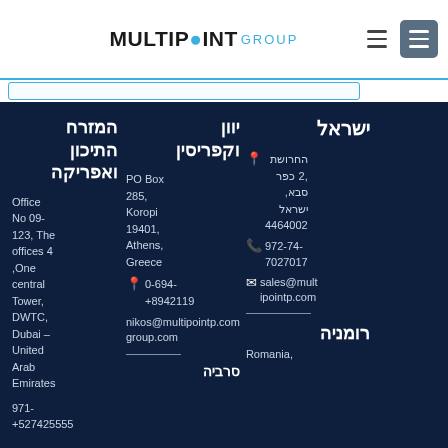[Figure (logo): Multipoint Group logo with blue globe icon]
MULTIPOINT GROUP
המזרח התיכון ואפריקה — Office No 09-123, The offices 4 ,One central Tower, DWTC, Dubai – United Arab Emirates
971-+527425555
יוון וקפריסין — PO Box 285, Koropi 19401, Athens, Greece
+8942119-0-694
nikos@multipointp.com group.com
ישראל — החרושת 2, כפר סבא, ישראל 4464002
+972-74-7027017
sales@mult...
רומניה — Romania,
סרביה